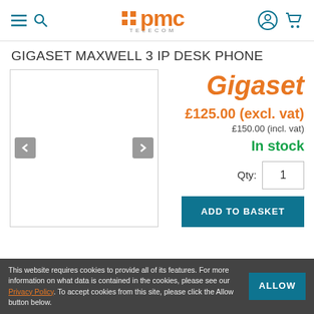PMC Telecom
GIGASET MAXWELL 3 IP DESK PHONE
[Figure (logo): Gigaset brand logo in orange italic text]
£125.00 (excl. vat)
£150.00 (incl. vat)
In stock
Qty: 1
ADD TO BASKET
This website requires cookies to provide all of its features. For more information on what data is contained in the cookies, please see our Privacy Policy. To accept cookies from this site, please click the Allow button below.